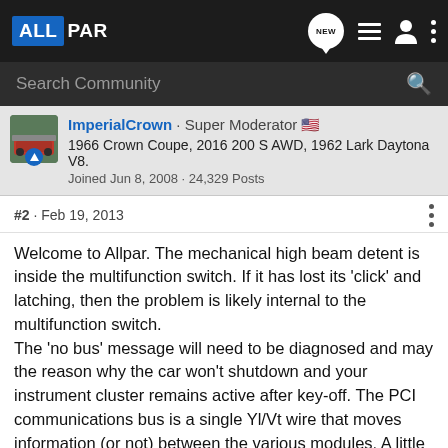ALLPAR — navigation bar with logo, NEW chat icon, list icon, user icon, and menu dots
Search Community
ImperialCrown · Super Moderator 🇺🇸
1966 Crown Coupe, 2016 200 S AWD, 1962 Lark Daytona V8.
Joined Jun 8, 2008 · 24,329 Posts
#2 · Feb 19, 2013
Welcome to Allpar. The mechanical high beam detent is inside the multifunction switch. If it has lost its 'click' and latching, then the problem is likely internal to the multifunction switch. The 'no bus' message will need to be diagnosed and may the reason why the car won't shutdown and your instrument cluster remains active after key-off. The PCI communications bus is a single Yl/Vt wire that moves information (or not) between the various modules. A little wetness, corrosion or electrical leakage at a connector can take the whole bus down. It can be pulled high or low. A DRB III scan tool is easiest for getting fault codes from the PCM, cluster and BCM and examining the various...